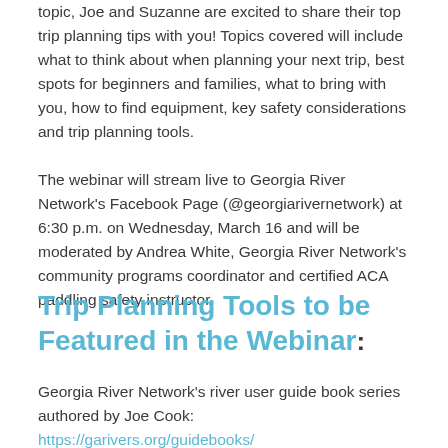topic, Joe and Suzanne are excited to share their top trip planning tips with you! Topics covered will include what to think about when planning your next trip, best spots for beginners and families, what to bring with you, how to find equipment, key safety considerations and trip planning tools.
The webinar will stream live to Georgia River Network's Facebook Page (@georgiarivernetwork) at 6:30 p.m. on Wednesday, March 16 and will be moderated by Andrea White, Georgia River Network's community programs coordinator and certified ACA paddling safety instructor.
Trip Planning Tools to be Featured in the Webinar:
Georgia River Network's river user guide book series authored by Joe Cook: https://garivers.org/guidebooks/ Suzanne Welander's 3rd edition of "Canoeing & Kayaking